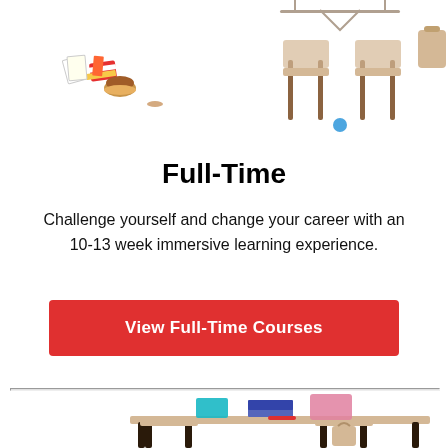[Figure (illustration): Miniature toy classroom scene with small chairs, a hanger rack, stacked books and items arranged on a white background — top portion of page]
Full-Time
Challenge yourself and change your career with an 10-13 week immersive learning experience.
[Figure (other): Red button labeled 'View Full-Time Courses']
[Figure (illustration): Miniature toy classroom scene with two chairs and a desk, with colorful notebooks and a backpack — bottom portion of page]